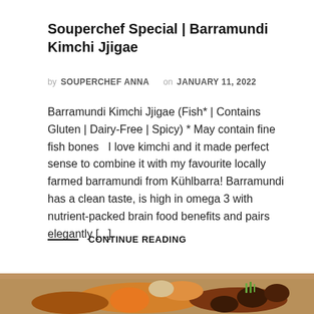Souperchef Special | Barramundi Kimchi Jjigae
by SOUPERCHEF ANNA on JANUARY 11, 2022
Barramundi Kimchi Jjigae (Fish* | Contains Gluten | Dairy-Free | Spicy) * May contain fine fish bones   I love kimchi and it made perfect sense to combine it with my favourite locally farmed barramundi from Kühlbarra! Barramundi has a clean taste, is high in omega 3 with nutrient-packed brain food benefits and pairs elegantly [...]
CONTINUE READING
[Figure (photo): Close-up photo of a bowl of stew with orange/brown broth, mushrooms, and vegetables visible at the bottom of the page.]